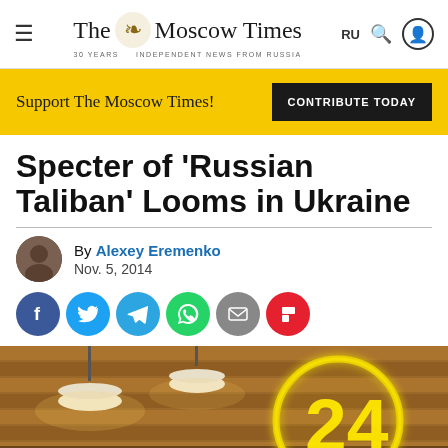The Moscow Times — Independent News From Russia
Support The Moscow Times! CONTRIBUTE TODAY
Specter of 'Russian Taliban' Looms in Ukraine
By Alexey Eremenko
Nov. 5, 2014
[Figure (photo): Interior photo showing pendant lamps and a neon '24' sign in a yellow circle on a wooden slat background.]